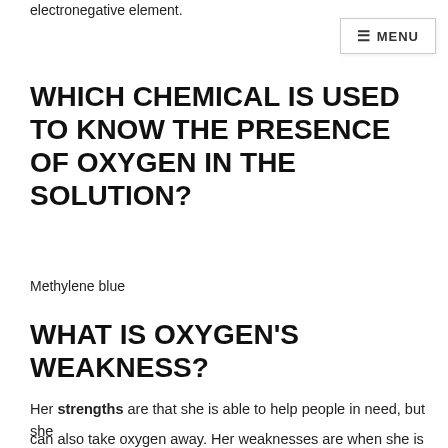electronegative element.
≡ MENU
WHICH CHEMICAL IS USED TO KNOW THE PRESENCE OF OXYGEN IN THE SOLUTION?
Methylene blue
WHAT IS OXYGEN'S WEAKNESS?
Her strengths are that she is able to help people in need, but she
can also take oxygen away. Her weaknesses are when she is high
up in the air and there is little oxygen in the air, it makes her